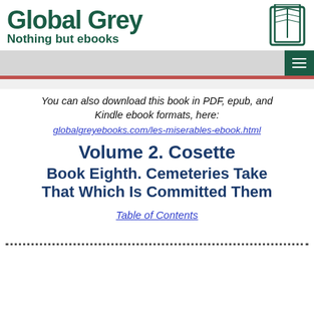Global Grey — Nothing but ebooks
You can also download this book in PDF, epub, and Kindle ebook formats, here:
globalgreyebooks.com/les-miserables-ebook.html
Volume 2. Cosette
Book Eighth. Cemeteries Take That Which Is Committed Them
Table of Contents